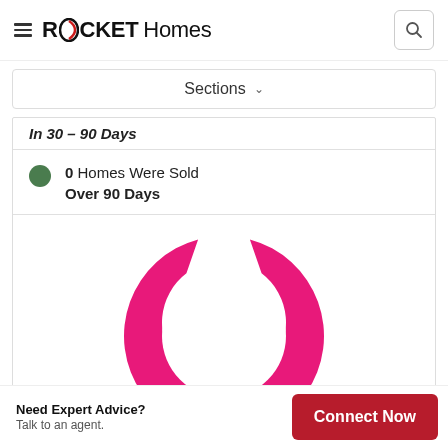ROCKET Homes
Sections
In 30 – 90 Days
0 Homes Were Sold Over 90 Days
[Figure (donut-chart): A donut chart showing homes sold by time period. Large pink/magenta filled arc representing the majority segment, with a small gap at the top.]
Need Expert Advice? Talk to an agent.
Connect Now